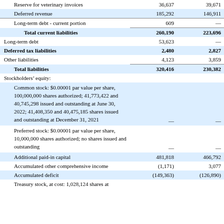| Description | Col1 | Col2 |
| --- | --- | --- |
| Reserve for veterinary invoices | 36,637 | 39,671 |
| Deferred revenue | 185,292 | 146,911 |
| Long-term debt - current portion | 609 | — |
| Total current liabilities | 260,190 | 223,696 |
| Long-term debt | 53,623 | — |
| Deferred tax liabilities | 2,480 | 2,827 |
| Other liabilities | 4,123 | 3,859 |
| Total liabilities | 320,416 | 230,382 |
| Stockholders' equity: |  |  |
| Common stock: $0.00001 par value per share, 100,000,000 shares authorized; 41,773,422 and 40,745,298 issued and outstanding at June 30, 2022; 41,408,350 and 40,475,185 shares issued and outstanding at December 31, 2021 | — | — |
| Preferred stock: $0.00001 par value per share, 10,000,000 shares authorized; no shares issued and outstanding | — | — |
| Additional paid-in capital | 481,818 | 466,792 |
| Accumulated other comprehensive income | (1,171) | 3,077 |
| Accumulated deficit | (149,363) | (126,890) |
| Treasury stock, at cost: 1,028,124 shares at |  |  |